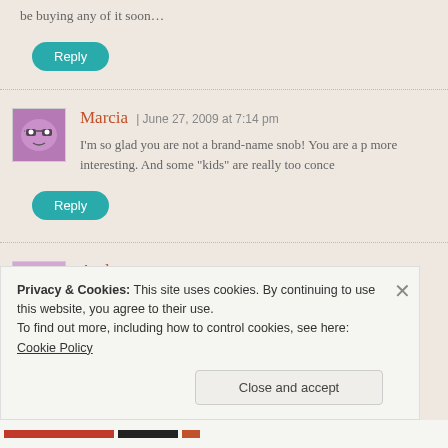be buying any of it soon…
Reply
Marcia | June 27, 2009 at 7:14 pm
[Figure (illustration): Avatar: cartoon purple face with glasses]
I'm so glad you are not a brand-name snob! You are a p more interesting. And some "kids" are really too conce
Reply
Andrea | June 28, 2009 at 10:03 am
[Figure (illustration): Avatar: cartoon pink face]
Privacy & Cookies: This site uses cookies. By continuing to use this website, you agree to their use.
To find out more, including how to control cookies, see here: Cookie Policy
Close and accept